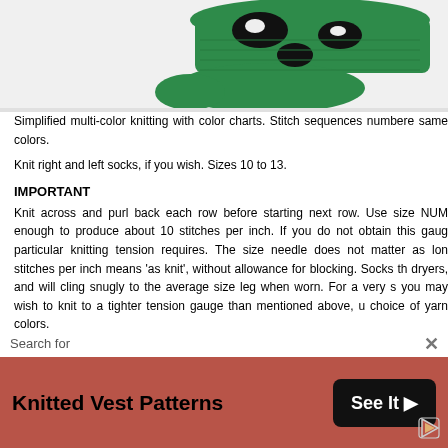[Figure (photo): Green knitted sock/bootie with black and white panda pattern, shown from above on a white background]
Simplified multi-color knitting with color charts. Stitch sequences numbered same colors.
Knit right and left socks, if you wish. Sizes 10 to 13.
IMPORTANT
Knit across and purl back each row before starting next row. Use size NUM enough to produce about 10 stitches per inch. If you do not obtain this gauge particular knitting tension requires. The size needle does not matter as long stitches per inch means 'as knit', without allowance for blocking. Socks the dryers, and will cling snugly to the average size leg when worn. For a very s you may wish to knit to a tighter tension gauge than mentioned above, u choice of yarn colors.
NOTE: In choosing yarn, be sure colors selected are in good contrast to sho
Search for Knitted Vest Patterns See It >